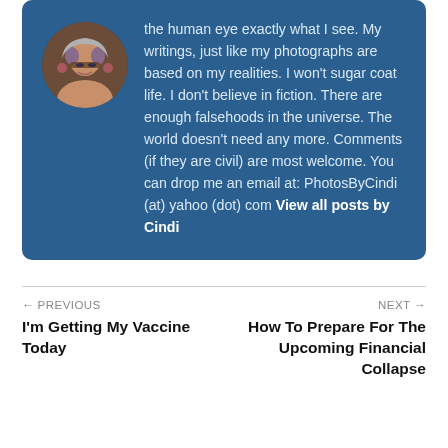the human eye exactly what I see. My writings, just like my photographs are based on my realities. I won't sugar coat life. I don't believe in fiction. There are enough falsehoods in the universe. The world doesn't need any more. Comments (if they are civil) are most welcome. You can drop me an email at: PhotosByCindi (at) yahoo (dot) com View all posts by Cindi
← PREVIOUS
I'm Getting My Vaccine Today
NEXT →
How To Prepare For The Upcoming Financial Collapse